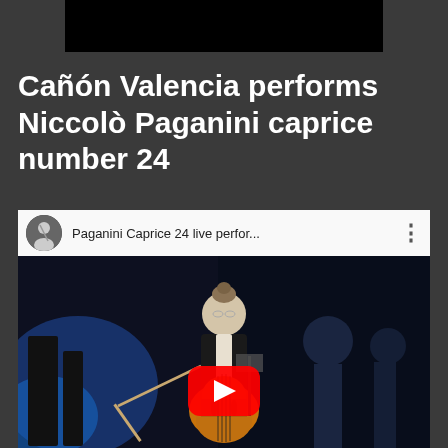[Figure (screenshot): Black bar at top of page, partial video thumbnail]
Cañón Valencia performs Niccolò Paganini caprice number 24
[Figure (screenshot): YouTube video embed showing a cellist performing on stage with a YouTube play button overlay. Video title: Paganini Caprice 24 live perfor...]